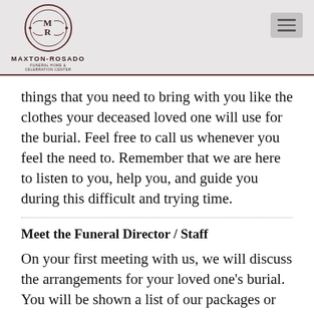[Figure (logo): Maxton-Rosado Funeral Home & Celebration Center circular logo with MR monogram and decorative flourishes]
things that you need to bring with you like the clothes your deceased loved one will use for the burial. Feel free to call us whenever you feel the need to. Remember that we are here to listen to you, help you, and guide you during this difficult and trying time.
Meet the Funeral Director / Staff
On your first meeting with us, we will discuss the arrangements for your loved one's burial. You will be shown a list of our packages or services so